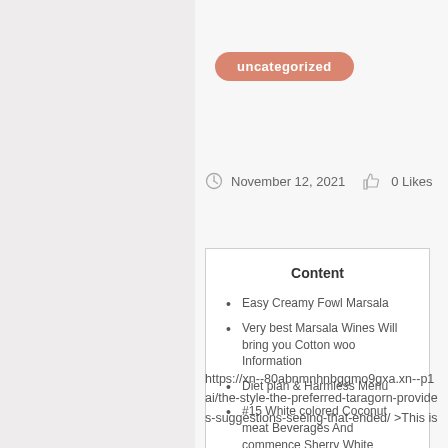uncategorized
November 12, 2021  0 Likes
Content
Easy Creamy Fowl Marsala
Very best Marsala Wines Will bring you Cotton woo Information
Diet plan & Harmless Menu
#15 White colored Coconut meat Beverages And commence Sherry White vinegar
https://xn--80abnmnhnbggmo9gxa.xn--p1ai/the-style-the-preferred-taragorn-provides-suggestions-seeing-that-ended/ >This is